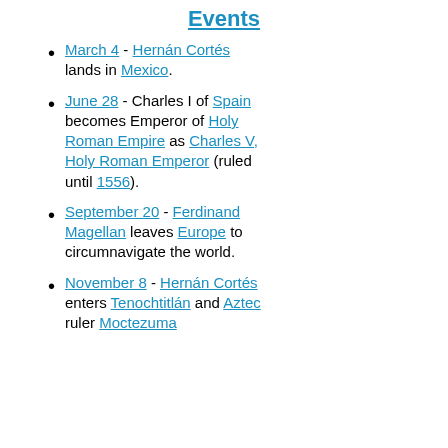Events
March 4 - Hernán Cortés lands in Mexico.
June 28 - Charles I of Spain becomes Emperor of Holy Roman Empire as Charles V, Holy Roman Emperor (ruled until 1556).
September 20 - Ferdinand Magellan leaves Europe to circumnavigate the world.
November 8 - Hernán Cortés enters Tenochtitlán and Aztec ruler Moctezuma